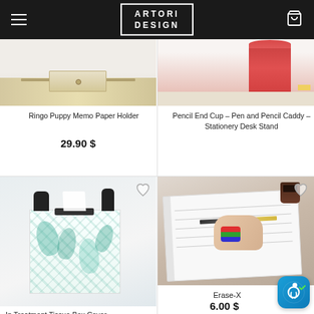ARTORI DESIGN
[Figure (photo): Ringo Puppy Memo Paper Holder product photo, top portion cropped]
Ringo Puppy Memo Paper Holder
29.90 $
[Figure (photo): Pencil End Cup – Pen and Pencil Caddy – Stationery Desk Stand product photo, top portion showing pink/red cylindrical cup]
Pencil End Cup – Pen and Pencil Caddy – Stationery Desk Stand
[Figure (photo): In Treatment Tissue Box Cover with floral/leaf pattern and silhouette figures on top]
In Treatment Tissue Box Cover
[Figure (photo): Erase-X product photo showing a hand using a small eraser on a notebook, with a pencil and coffee cup in background]
Erase-X
6.00 $